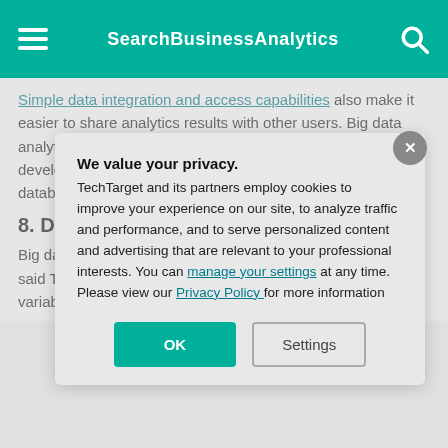SearchBusinessAnalytics
Simple data integration and access capabilities also make it easier to share analytics results with other users. Big data analytics tools should provide built-in connectors and development toolkits for easy integration with existing databases, data warehouses, data lakes and a... the cloud.
8. Data mana...
Big data analytic... management pla... continuity and st... said Tim Lafferty... consultancy Abis... data increases i... its variability. Da... inconsistencies...
We value your privacy.
TechTarget and its partners employ cookies to improve your experience on our site, to analyze traffic and performance, and to serve personalized content and advertising that are relevant to your professional interests. You can manage your settings at any time. Please view our Privacy Policy for more information